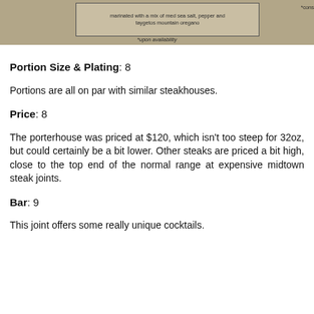[Figure (photo): Top portion of a restaurant menu photo showing food items with text overlay: 'marinated with a mix of med sea salt, pepper and taygetos mountain oregano' in a bordered box, with '*cons' partially visible at right and '*upon availability' below.]
Portion Size & Plating: 8
Portions are all on par with similar steakhouses.
Price: 8
The porterhouse was priced at $120, which isn't too steep for 32oz, but could certainly be a bit lower. Other steaks are priced a bit high, close to the top end of the normal range at expensive midtown steak joints.
Bar: 9
This joint offers some really unique cocktails.